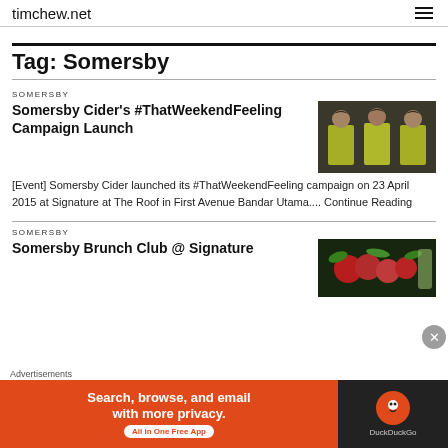timchew.net
Tag: Somersby
SOMERSBY
Somersby Cider's #ThatWeekendFeeling Campaign Launch
[Figure (photo): Three women in yellow sleeveless tops standing together at an event]
[Event]   Somersby Cider launched its #ThatWeekendFeeling campaign on 23 April 2015 at Signature at The Roof in First Avenue Bandar Utama.... Continue Reading
SOMERSBY
Somersby Brunch Club @ Signature
[Figure (photo): Food and drinks photo for Somersby Brunch Club event]
Advertisements
[Figure (screenshot): DuckDuckGo advertisement banner: Search, browse, and email with more privacy. All in One Free App]